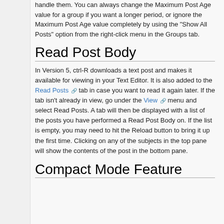handle them. You can always change the Maximum Post Age value for a group if you want a longer period, or ignore the Maximum Post Age value completely by using the "Show All Posts" option from the right-click menu in the Groups tab.
Read Post Body
In Version 5, ctrl-R downloads a text post and makes it available for viewing in your Text Editor. It is also added to the Read Posts tab in case you want to read it again later. If the tab isn't already in view, go under the View menu and select Read Posts. A tab will then be displayed with a list of the posts you have performed a Read Post Body on. If the list is empty, you may need to hit the Reload button to bring it up the first time. Clicking on any of the subjects in the top pane will show the contents of the post in the bottom pane.
Compact Mode Feature